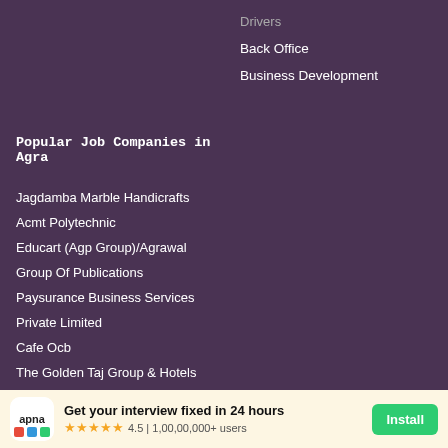Back Office
Business Development
Popular Job Companies in Agra
Jagdamba Marble Handicrafts
Acmt Polytechnic
Educart (Agp Group)/Agrawal
Group Of Publications
Paysurance Business Services
Private Limited
Cafe Ocb
The Golden Taj Group & Hotels
Sellenergy
Global Hr Life
Spn Propservices Llp
Zeneva Tech
[Figure (infographic): App install banner: apna logo, 'Get your interview fixed in 24 hours', 4.5 stars, 1,00,00,000+ users, Install button]